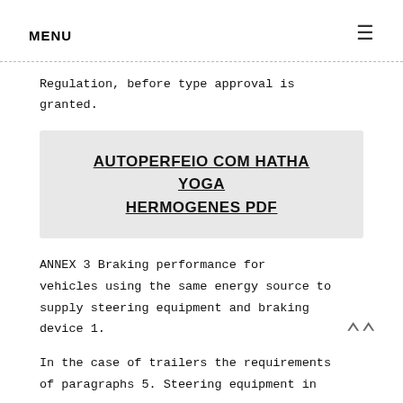MENU ☰
Regulation, before type approval is granted.
AUTOPERFEIO COM HATHA YOGA HERMOGENES PDF
ANNEX 3 Braking performance for vehicles using the same energy source to supply steering equipment and braking device 1.
In the case of trailers the requirements of paragraphs 5. Steering equipment in